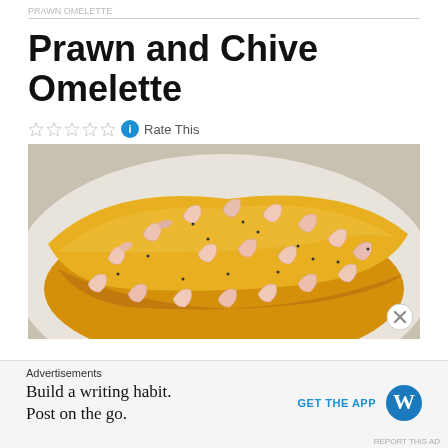PRAWN OMELETTE
Prawn and Chive Omelette
☆☆☆☆☆ ℹ Rate This
[Figure (photo): A prawn and chive omelette on a white plate, topped with many small cooked prawns and cracked black pepper, golden egg visible underneath.]
Advertisements
Build a writing habit. Post on the go.
GET THE APP [WordPress logo]